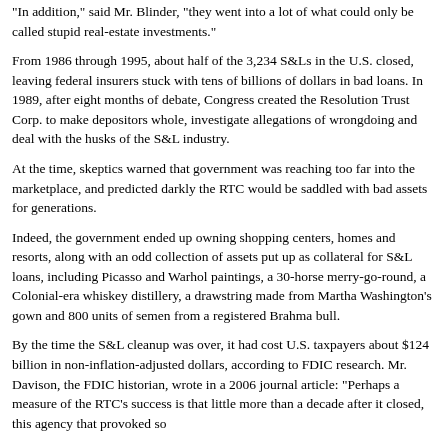"In addition," said Mr. Blinder, "they went into a lot of what could only be called stupid real-estate investments."
From 1986 through 1995, about half of the 3,234 S&Ls in the U.S. closed, leaving federal insurers stuck with tens of billions of dollars in bad loans. In 1989, after eight months of debate, Congress created the Resolution Trust Corp. to make depositors whole, investigate allegations of wrongdoing and deal with the husks of the S&L industry.
At the time, skeptics warned that government was reaching too far into the marketplace, and predicted darkly the RTC would be saddled with bad assets for generations.
Indeed, the government ended up owning shopping centers, homes and resorts, along with an odd collection of assets put up as collateral for S&L loans, including Picasso and Warhol paintings, a 30-horse merry-go-round, a Colonial-era whiskey distillery, a drawstring made from Martha Washington's gown and 800 units of semen from a registered Brahma bull.
By the time the S&L cleanup was over, it had cost U.S. taxpayers about $124 billion in non-inflation-adjusted dollars, according to FDIC research. Mr. Davison, the FDIC historian, wrote in a 2006 journal article: "Perhaps a measure of the RTC's success is that little more than a decade after it closed, this agency that provoked so